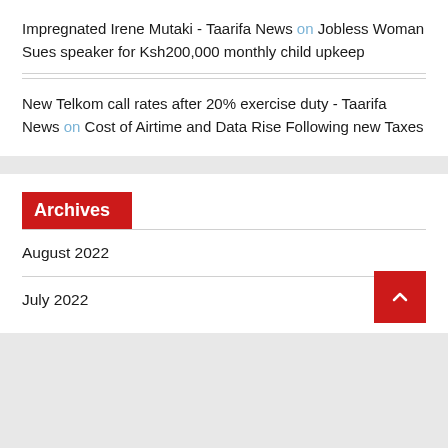Impregnated Irene Mutaki - Taarifa News on Jobless Woman Sues speaker for Ksh200,000 monthly child upkeep
New Telkom call rates after 20% exercise duty - Taarifa News on Cost of Airtime and Data Rise Following new Taxes
Archives
August 2022
July 2022